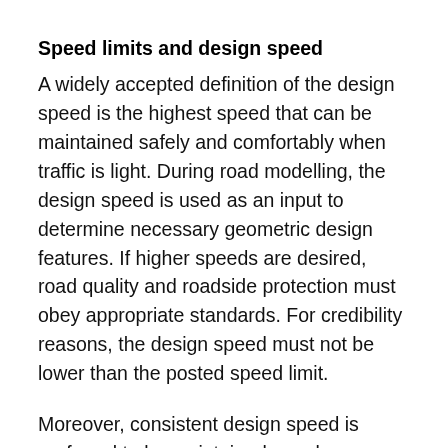Speed limits and design speed
A widely accepted definition of the design speed is the highest speed that can be maintained safely and comfortably when traffic is light. During road modelling, the design speed is used as an input to determine necessary geometric design features. If higher speeds are desired, road quality and roadside protection must obey appropriate standards. For credibility reasons, the design speed must not be lower than the posted speed limit.
Moreover, consistent design speed is preferred to be maintained over longer